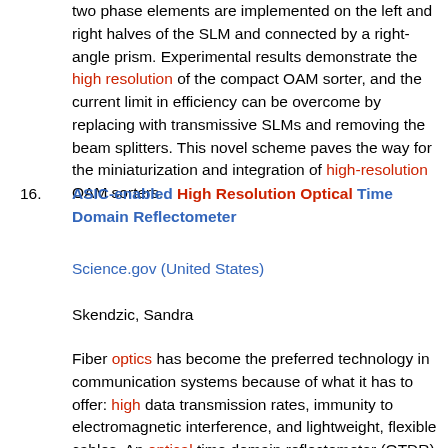two phase elements are implemented on the left and right halves of the SLM and connected by a right-angle prism. Experimental results demonstrate the high resolution of the compact OAM sorter, and the current limit in efficiency can be overcome by replacing with transmissive SLMs and removing the beam splitters. This novel scheme paves the way for the miniaturization and integration of high-resolution OAM sorters.
16. ASIC-enabled High Resolution Optical Time Domain Reflectometer
Science.gov (United States)
Skendzic, Sandra
Fiber optics has become the preferred technology in communication systems because of what it has to offer: high data transmission rates, immunity to electromagnetic interference, and lightweight, flexible cables. An optical time domain reflectometer (OTDR) provides a convenient method of locating and diagnosing faults (e.g. break in a fiber) along a fiber that can obstruct crucial optical pathways. Both the ability to resolve the precise location of the fault and distinguish between two discrete, closely spaced faults are figures of merit